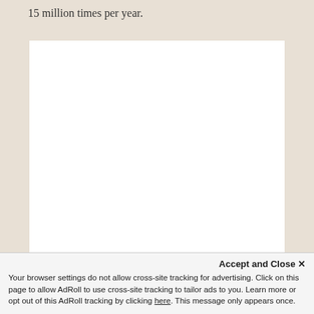15 million times per year.
[Figure (other): Large white blank/empty rectangular box area]
Accept and Close ×
Your browser settings do not allow cross-site tracking for advertising. Click on this page to allow AdRoll to use cross-site tracking to tailor ads to you. Learn more or opt out of this AdRoll tracking by clicking here. This message only appears once.